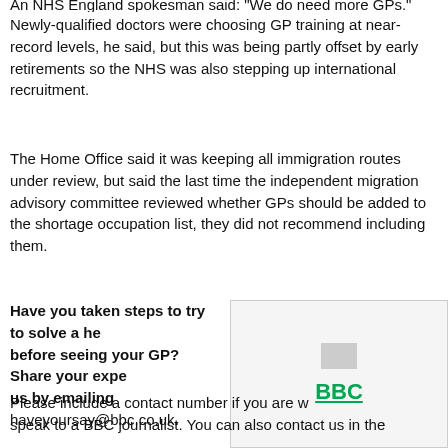Newly-qualified doctors were choosing GP training at near-record levels, he said, but this was being partly offset by early retirements so the NHS was also stepping up international recruitment.
The Home Office said it was keeping all immigration routes under review, but said the last time the independent migration advisory committee reviewed whether GPs should be added to the shortage occupation list, they did not recommend including them.
Have you taken steps to try to solve a health problem before seeing your GP? Share your experiences with us by emailing haveyoursay@bbc.co.uk.
[Figure (logo): BBC logo panel with placeholder image and BBC text in green]
Please include a contact number if you are willing to speak to a BBC journalist. You can also contact us in the